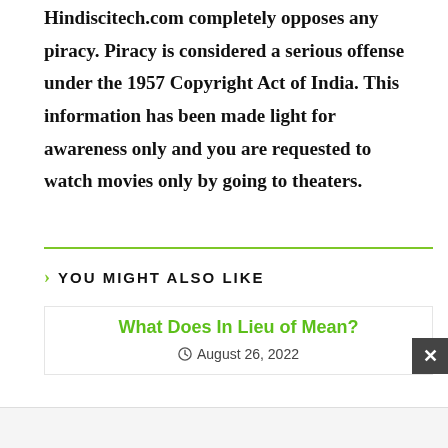Hindiscitech.com completely opposes any piracy. Piracy is considered a serious offense under the 1957 Copyright Act of India. This information has been made light for awareness only and you are requested to watch movies only by going to theaters.
YOU MIGHT ALSO LIKE
What Does In Lieu of Mean?
August 26, 2022